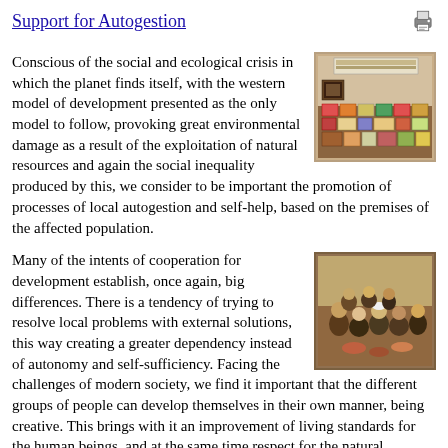Support for Autogestion
Conscious of the social and ecological crisis in which the planet finds itself, with the western model of development presented as the only model to follow, provoking great environmental damage as a result of the exploitation of natural resources and again the social inequality produced by this, we consider to be important the promotion of processes of local autogestion and self-help, based on the premises of the affected population.
[Figure (photo): Photo of goods/products displayed on a table, including boxes and packaged items.]
Many of the intents of cooperation for development establish, once again, big differences. There is a tendency of trying to resolve local problems with external solutions, this way creating a greater dependency instead of autonomy and self-sufficiency. Facing the challenges of modern society, we find it important that the different groups of people can develop themselves in their own manner, being creative. This brings with it an improvement of living standards for the human beings, and at the same time respect for the natural resources.
[Figure (photo): Photo of a group of people sitting together in a room.]